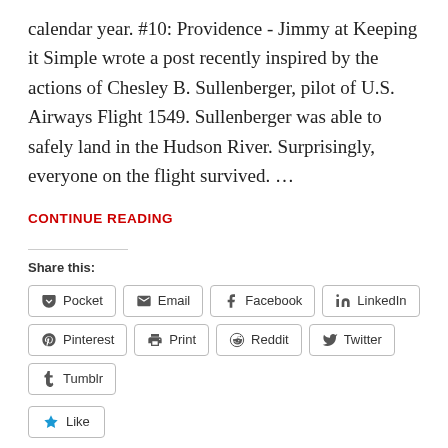calendar year. #10: Providence - Jimmy at Keeping it Simple wrote a post recently inspired by the actions of Chesley B. Sullenberger, pilot of U.S. Airways Flight 1549. Sullenberger was able to safely land in the Hudson River. Surprisingly, everyone on the flight survived. …
CONTINUE READING
Share this:
Pocket  Email  Facebook  LinkedIn  Pinterest  Print  Reddit  Twitter  Tumblr
Like